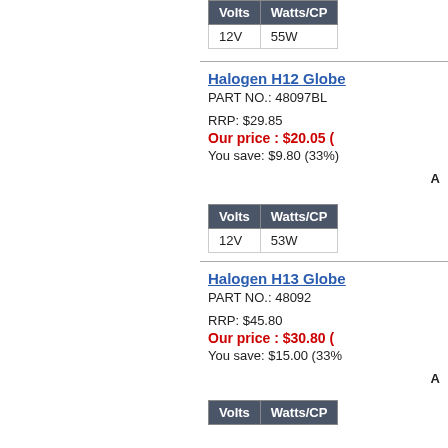| Volts | Watts/CP |
| --- | --- |
| 12V | 55W |
Halogen H12 Globe
PART NO.: 48097BL
RRP: $29.85
Our price : $20.05 (
You save: $9.80 (33%)
| Volts | Watts/CP |
| --- | --- |
| 12V | 53W |
Halogen H13 Globe
PART NO.: 48092
RRP: $45.80
Our price : $30.80 (
You save: $15.00 (33%